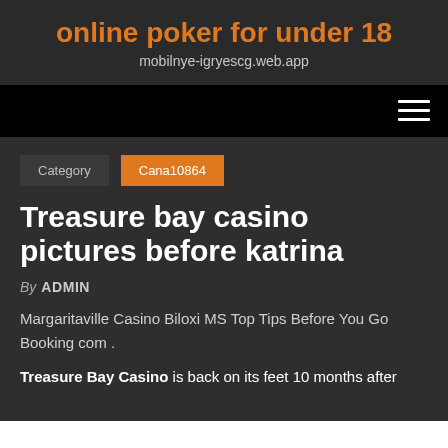online poker for under 18
mobilnye-igryescg.web.app
Category  Cana10864
Treasure bay casino pictures before katrina
By ADMIN
Margaritaville Casino Biloxi MS Top Tips Before You Go Booking com .
Treasure Bay Casino is back on its feet 10 months after